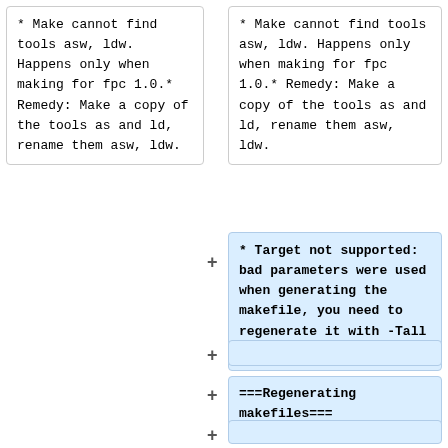* Make cannot find tools asw, ldw. Happens only when making for fpc 1.0.* Remedy: Make a copy of the tools as and ld, rename them asw, ldw.
* Make cannot find tools asw, ldw. Happens only when making for fpc 1.0.* Remedy: Make a copy of the tools as and ld, rename them asw, ldw.
* Target not supported: bad parameters were used when generating the makefile, you need to regenerate it with -Tall (see next paragraph)
===Regenerating makefiles===